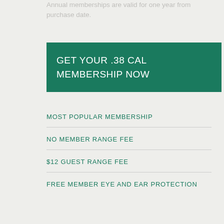Annual memberships are valid for one year from purchase date.
GET YOUR .38 CAL MEMBERSHIP NOW
MOST POPULAR MEMBERSHIP
NO MEMBER RANGE FEE
$12 GUEST RANGE FEE
FREE MEMBER EYE AND EAR PROTECTION